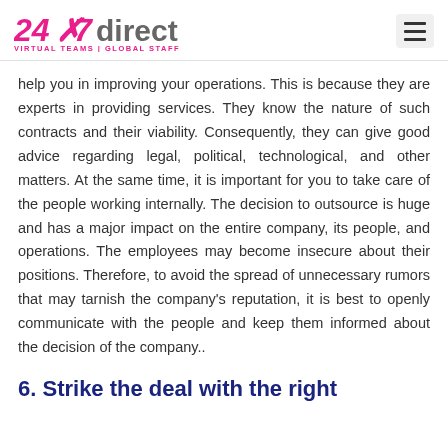24x7direct VIRTUAL TEAMS | GLOBAL STAFF
help you in improving your operations. This is because they are experts in providing services. They know the nature of such contracts and their viability. Consequently, they can give good advice regarding legal, political, technological, and other matters. At the same time, it is important for you to take care of the people working internally. The decision to outsource is huge and has a major impact on the entire company, its people, and operations. The employees may become insecure about their positions. Therefore, to avoid the spread of unnecessary rumors that may tarnish the company's reputation, it is best to openly communicate with the people and keep them informed about the decision of the company..
6. Strike the deal with the right